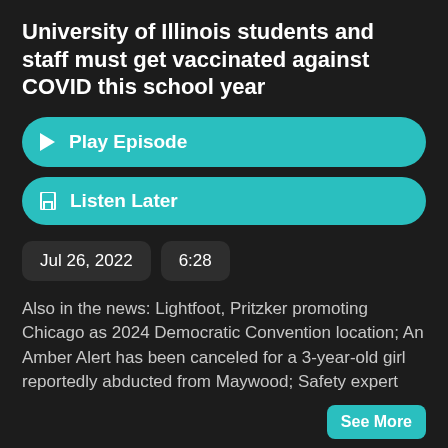University of Illinois students and staff must get vaccinated against COVID this school year
Play Episode
Listen Later
Jul 26, 2022
6:28
Also in the news: Lightfoot, Pritzker promoting Chicago as 2024 Democratic Convention location; An Amber Alert has been canceled for a 3-year-old girl reportedly abducted from Maywood; Safety expert
See More
# covid-19
# chicago
# news